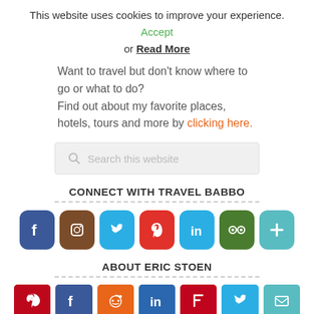This website uses cookies to improve your experience. Accept or Read More
Want to travel but don't know where to go or what to do? Find out about my favorite places, hotels, tours and more by clicking here.
[Figure (other): Search box with placeholder text 'Search this website']
CONNECT WITH TRAVEL BABBO
[Figure (infographic): Row of social media icon buttons: Facebook, Instagram, Twitter, Pinterest, LinkedIn, TripAdvisor, More]
ABOUT ERIC STOEN
[Figure (infographic): Row of share icon buttons: Pinterest, Facebook, Reddit, LinkedIn, Flipboard, Twitter, Email]